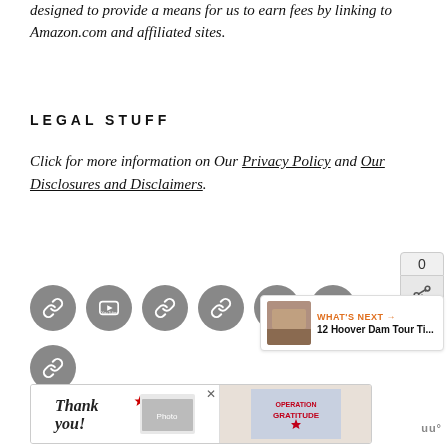designed to provide a means for us to earn fees by linking to Amazon.com and affiliated sites.
LEGAL STUFF
Click for more information on Our Privacy Policy and Our Disclosures and Disclaimers.
[Figure (infographic): A row of seven gray circular social media icon buttons, with an additional icon below, plus a share widget showing count 0 and a share icon, and a 'What's Next' panel showing a thumbnail and text '12 Hoover Dam Tour Ti...']
[Figure (infographic): Advertisement banner for Operation Gratitude showing 'Thank you!' text with American flag imagery and healthcare workers photo]